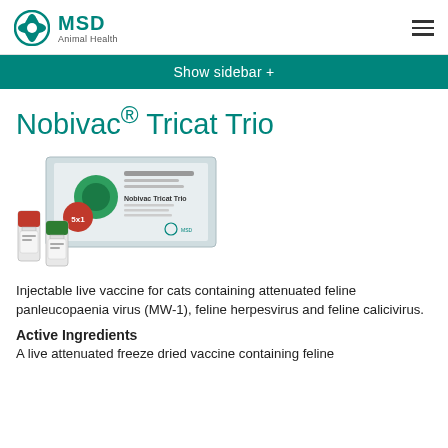MSD Animal Health
Show sidebar +
Nobivac® Tricat Trio
[Figure (photo): Product photo of Nobivac Tricat Trio vaccine package and vials]
Injectable live vaccine for cats containing attenuated feline panleucopaenia virus (MW-1), feline herpesvirus and feline calicivirus.
Active Ingredients
A live attenuated freeze dried vaccine containing feline